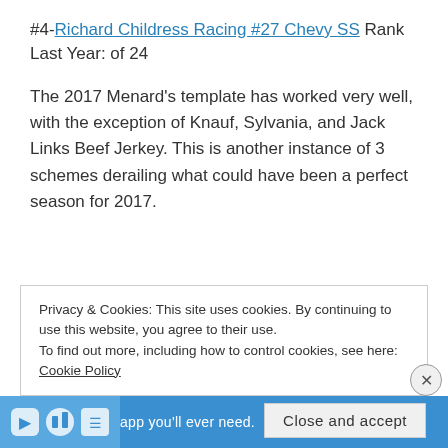#4- Richard Childress Racing #27 Chevy SS Rank Last Year: of 24
The 2017 Menard’s template has worked very well, with the exception of Knauf, Sylvania, and Jack Links Beef Jerkey. This is another instance of 3 schemes derailing what could have been a perfect season for 2017.
Privacy & Cookies: This site uses cookies. By continuing to use this website, you agree to their use.
To find out more, including how to control cookies, see here: Cookie Policy
Close and accept
app you’ll ever need.